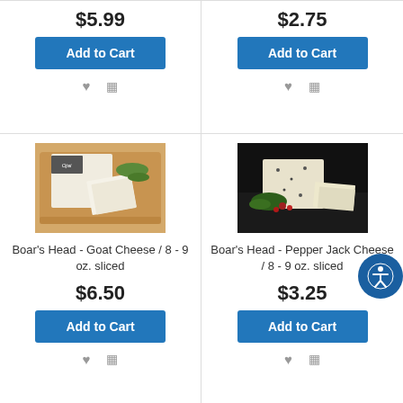$5.99
Add to Cart
$2.75
Add to Cart
[Figure (photo): Boar's Head Goat Cheese block on wooden cutting board with slices and herbs]
Boar's Head - Goat Cheese / 8 - 9 oz. sliced
$6.50
Add to Cart
[Figure (photo): Boar's Head Pepper Jack Cheese block with garnishes on dark background]
Boar's Head - Pepper Jack Cheese / 8 - 9 oz. sliced
$3.25
Add to Cart